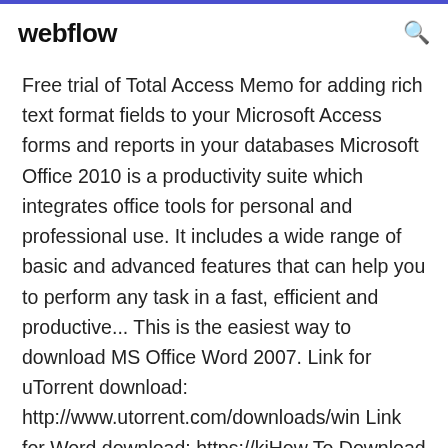webflow
Free trial of Total Access Memo for adding rich text format fields to your Microsoft Access forms and reports in your databases Microsoft Office 2010 is a productivity suite which integrates office tools for personal and professional use. It includes a wide range of basic and advanced features that can help you to perform any task in a fast, efficient and productive... This is the easiest way to download MS Office Word 2007. Link for uTorrent download: http://www.utorrent.com/downloads/win Link for Word download: https://kiHow To Download & Install Microsoft Office 2010 Free Full...